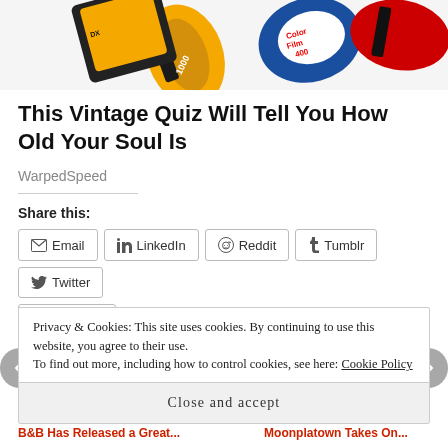[Figure (photo): Colorful vintage film rolls including Kodak and Fujicolor Color Film 400 displayed at the top of the page]
This Vintage Quiz Will Tell You How Old Your Soul Is
WarpedSpeed
Share this:
Email LinkedIn Reddit Tumblr Twitter Facebook (share buttons)
Loading...
Privacy & Cookies: This site uses cookies. By continuing to use this website, you agree to their use.
To find out more, including how to control cookies, see here: Cookie Policy
Close and accept
B&B Has Released a Great ... Moonplatown Takes On ...